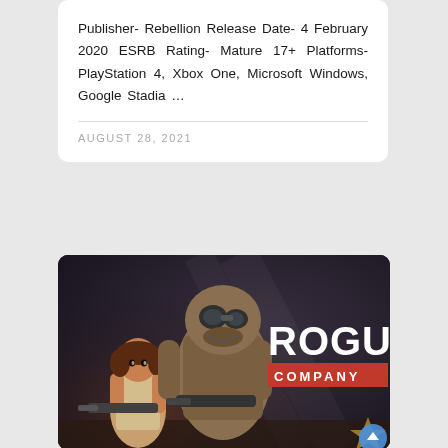Publisher- Rebellion Release Date- 4 February 2020 ESRB Rating- Mature 17+ Platforms- PlayStation 4, Xbox One, Microsoft Windows, Google Stadia …
AUGUST 28, 2021
[Figure (photo): Rogue Company game promotional art showing two characters — a woman with a red headband and curly hair holding a weapon, and a large alien/creature character behind her with goggles, alongside the 'Rogue Company' logo in bold white text with a red banner.]